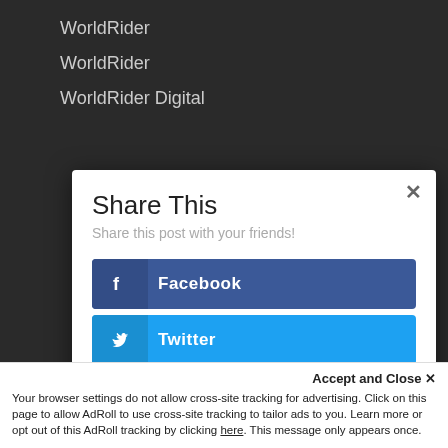WorldRider
WorldRider
WorldRider Digital
Share This
Share this post with your friends!
Facebook
Twitter
Buffer
LinkedIn
Accept and Close ✕
Your browser settings do not allow cross-site tracking for advertising. Click on this page to allow AdRoll to use cross-site tracking to tailor ads to you. Learn more or opt out of this AdRoll tracking by clicking here. This message only appears once.